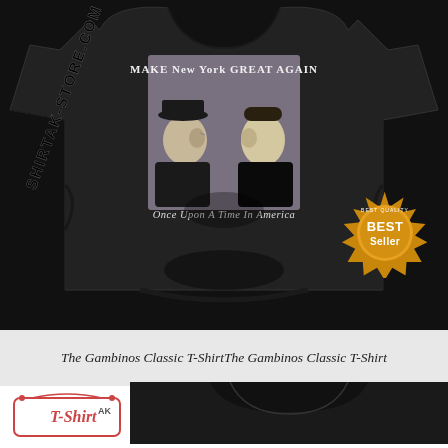[Figure (photo): Black t-shirt with graphic design showing two men in profile facing away from each other. Text on shirt reads 'MAKE New York GREAT AGAIN' at top and 'Once Upon A Time In America' at bottom. Best Seller badge in bottom right corner. Diagonal watermark text 'SHIRTAK-STORE.COM' on left side.]
The Gambinos Classic T-ShirtThe Gambinos Classic T-Shirt
[Figure (logo): T-Shirt AK logo in bottom left corner]
[Figure (photo): Partial view of a black t-shirt at bottom of page]